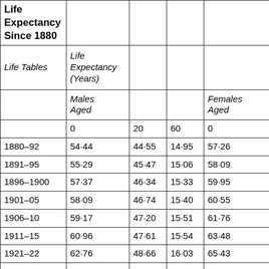| Life Expectancy Since 1880 | Life Expectancy (Years) |  |  |  |
| --- | --- | --- | --- | --- |
| Life Tables | Life Expectancy (Years) |  |  |  |
|  | Males Aged |  |  | Females Aged |
|  | 0 | 20 | 60 | 0 |
| 1880–92 | 54·44 | 44·55 | 14·95 | 57·26 |
| 1891–95 | 55·29 | 45·47 | 15·06 | 58·09 |
| 1896–1900 | 57·37 | 46·34 | 15·33 | 59·95 |
| 1901–05 | 58·09 | 46·74 | 15·40 | 60·55 |
| 1906–10 | 59·17 | 47·20 | 15·51 | 61·76 |
| 1911–15 | 60·96 | 47·61 | 15·54 | 63·48 |
| 1921–22 | 62·76 | 48·66 | 16·03 | 65·43 |